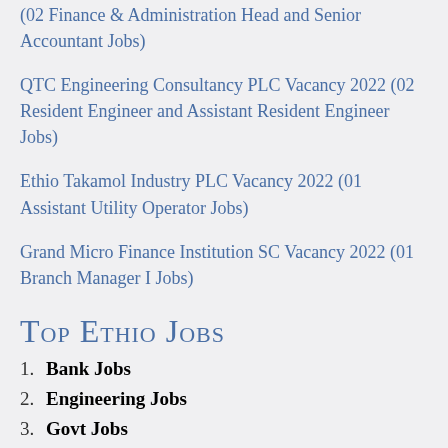(02 Finance & Administration Head and Senior Accountant Jobs)
QTC Engineering Consultancy PLC Vacancy 2022 (02 Resident Engineer and Assistant Resident Engineer Jobs)
Ethio Takamol Industry PLC Vacancy 2022 (01 Assistant Utility Operator Jobs)
Grand Micro Finance Institution SC Vacancy 2022 (01 Branch Manager I Jobs)
Top Ethio Jobs
Bank Jobs
Engineering Jobs
Govt Jobs
Private Jobs
Telecom Jobs